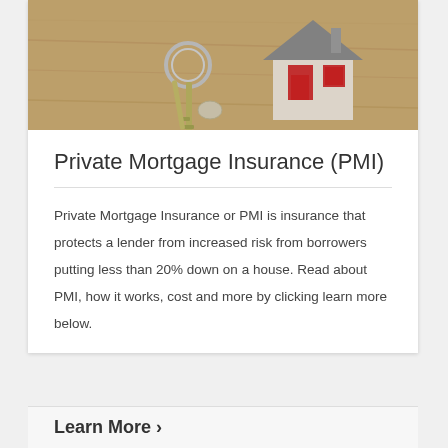[Figure (photo): Photo of house keys on a keyring next to a small model house on a wooden surface]
Private Mortgage Insurance (PMI)
Private Mortgage Insurance or PMI is insurance that protects a lender from increased risk from borrowers putting less than 20% down on a house. Read about PMI, how it works, cost and more by clicking learn more below.
Learn More ›